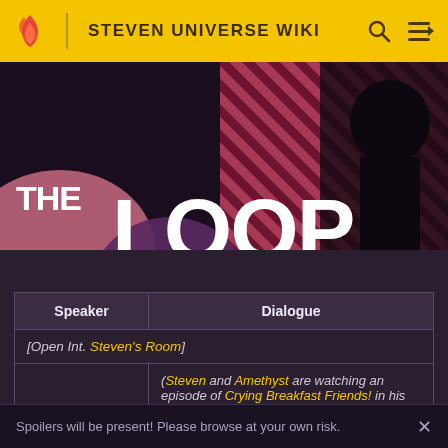STEVEN UNIVERSE WIKI
[Figure (screenshot): Hero banner showing 'THE LOOP' text over a dark stylized background with diagonal stripe pattern in pink/red tones]
| Speaker | Dialogue |
| --- | --- |
| [Open Int. Steven's Room] |  |
|  | (Steven and Amethyst are watching an episode of Crying Breakfast Friends! in his bedroom. In the cartoon, Crying Pear accidentally dropped his ice cream on the floor, and he and Sad Spoon start crying. Bawling Bacon then arrives, looks at the mishaps for a while and starts crying as well.) |
Spoilers will be present! Please browse at your own risk.